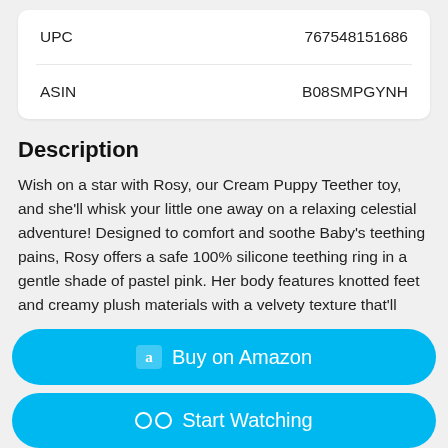|  |  |
| --- | --- |
| UPC | 767548151686 |
| ASIN | B08SMPGYNH |
Description
Wish on a star with Rosy, our Cream Puppy Teether toy, and she'll whisk your little one away on a relaxing celestial adventure! Designed to comfort and soothe Baby's teething pains, Rosy offers a safe 100% silicone teething ring in a gentle shade of pastel pink. Her body features knotted feet and creamy plush materials with a velvety texture that'll invite Baby to cuddle her close. Accented with a scattering of tiny, pink stars and baby-safe embroidered details, Rosy will find favor with parents and infants alike! Enjoy this friendly
Buy on Amazon
Start Watching